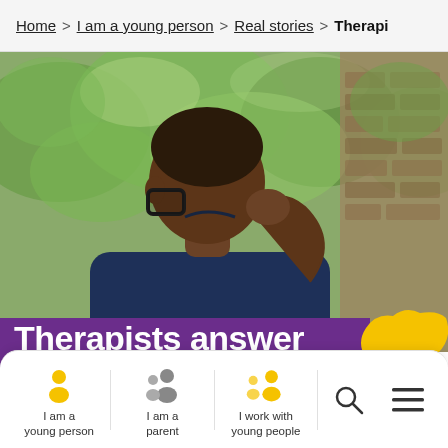Home > I am a young person > Real stories > Therapi
[Figure (photo): Young Black man wearing glasses and a navy hoodie, seen from behind/side, holding the back of his neck with one hand. Blurred green foliage and brick wall in background.]
Therapists answer your
[Figure (illustration): Yellow paint-splash/blob decorative element in top-right corner of banner area.]
I am a young person | I am a parent | I work with young people